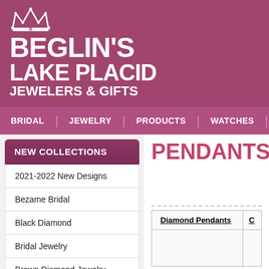[Figure (logo): Beglin's Lake Placid Jewelers & Gifts logo with crown icon and white text on mauve/pink background]
BRIDAL | JEWELRY | PRODUCTS | WATCHES | RE...
NEW COLLECTIONS
PENDANTS
2021-2022 New Designs
Bezame Bridal
Black Diamond
Bridal Jewelry
Brown Diamond Jewelry
Contour Rings
Fashion Jewelry
Flexible Jewelry
| Diamond Pendants | C... |
| --- | --- |